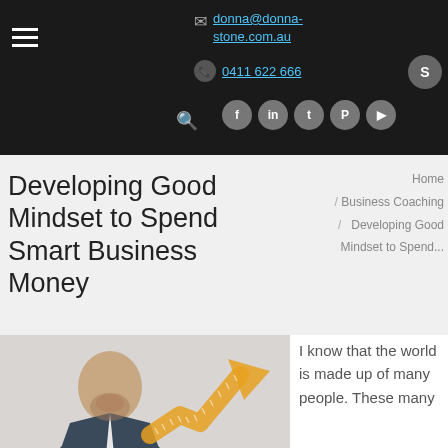donna@donna-stone.com.au | 0411 622 666
Developing Good Mindset to Spend Smart Business Money
Home / Business Coaching / Developing Good Mindset to Spend...
[Figure (photo): Man in suit laughing, with an orange upward trending arrow chart overlaid]
I know that the world is made up of many people. These many